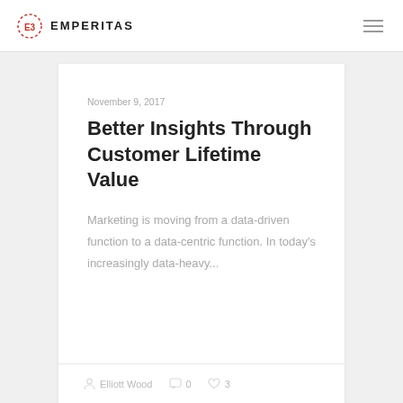EMPERITAS
November 9, 2017
Better Insights Through Customer Lifetime Value
Marketing is moving from a data-driven function to a data-centric function. In today's increasingly data-heavy...
Elliott Wood   0   3